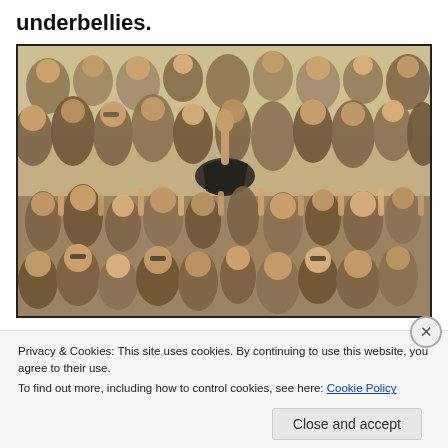underbellies.
[Figure (photo): A large outdoor crowd at what appears to be a music festival or concert. A person in dark clothing is crowd-surfing, being held up by the mass of people below, many with hands raised. The image is taken in daylight and shows hundreds of people tightly packed together.]
Privacy & Cookies: This site uses cookies. By continuing to use this website, you agree to their use.
To find out more, including how to control cookies, see here: Cookie Policy